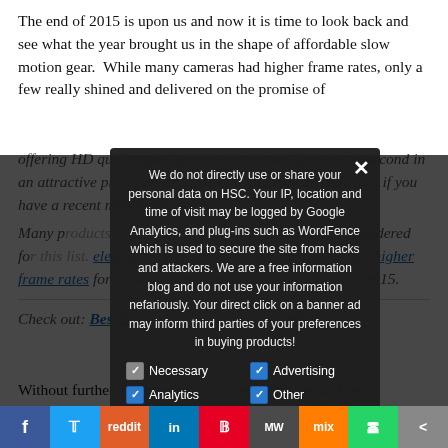The end of 2015 is upon us and now it is time to look back and see what the year brought us in the shape of affordable slow motion gear. While many cameras had higher frame rates, only a few really shined and delivered on the promise of offering HD quality and higher than normal frames per second in an attractive price range. Some of it you may already own if you have a recent mobile device.
Many p... ship which m... Only cameras... considered fo... electronic offer better quality slow motion at higher frame rates for a similar price bu... s, introduced in 2015.
We do not directly use or share your personal data on HSC. Your IP, location and time of visit may be logged by Google Analytics, and plug-ins such as WordFence which is used to secure the site from hacks and attackers. We are a free information blog and do not use your information nefariously. Your direct click on a banner ad may inform third parties of your preferences in buying products!
Necessary
Advertising
Analytics
Other
Privacy Preferences
I Agree
Check out: Best Slow Motion Cameras of 2016!
Without further ado here a... believe to be the five